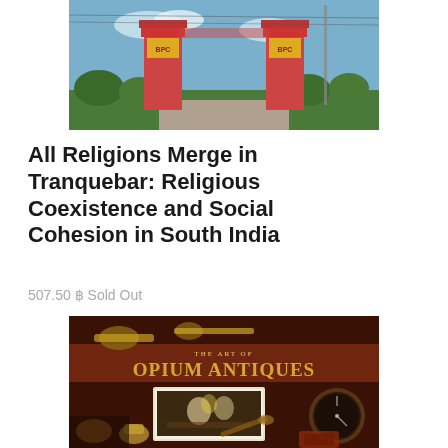[Figure (photo): Photo of a gate entrance with two pillars, signage on pillars, blue sky background, green trees visible]
All Religions Merge in Tranquebar: Religious Coexistence and Social Cohesion in South India
507.50 ฿ Sold Out
[Figure (photo): Book cover of 'The Art of Opium Antiques' showing antique opium-related objects including pipes, thimbles, a pocket watch, tools, and a vintage photograph of people at a table, on a dark red background with gold lettering]